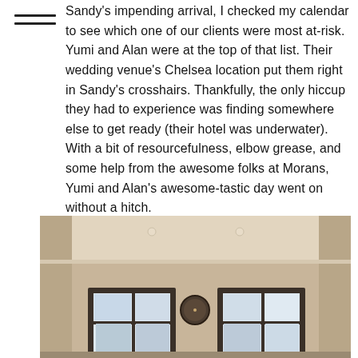Sandy's impending arrival, I checked my calendar to see which one of our clients were most at-risk. Yumi and Alan were at the top of that list. Their wedding venue's Chelsea location put them right in Sandy's crosshairs. Thankfully, the only hiccup they had to experience was finding somewhere else to get ready (their hotel was underwater). With a bit of resourcefulness, elbow grease, and some help from the awesome folks at Morans, Yumi and Alan's awesome-tastic day went on without a hitch.
[Figure (photo): Interior room photo showing a warm tan/beige wall with two dark-framed windows and a round clock or mirror centered between them on the wall, photographed from below looking slightly upward.]